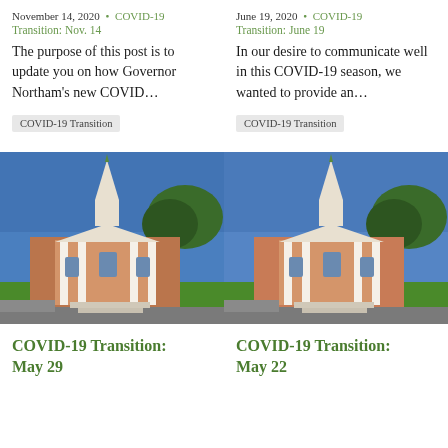November 14, 2020 • COVID-19
Transition: Nov. 14
The purpose of this post is to update you on how Governor Northam's new COVID...
COVID-19 Transition
June 19, 2020 • COVID-19
Transition: June 19
In our desire to communicate well in this COVID-19 season, we wanted to provide an...
COVID-19 Transition
[Figure (photo): Exterior photo of a brick church building with white steeple, columns, blue sky and green trees]
COVID-19 Transition: May 29
[Figure (photo): Exterior photo of the same brick church building with white steeple, columns, blue sky and green trees]
COVID-19 Transition: May 22